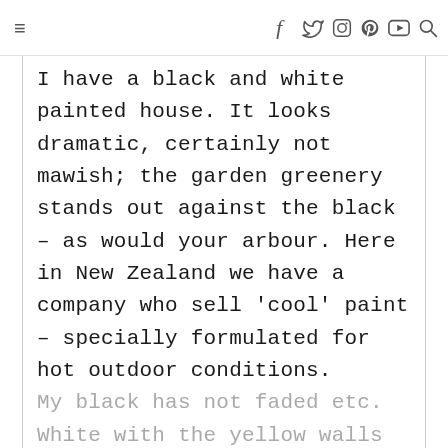≡  f  t  IG  P  ▶  🔍
I have a black and white painted house. It looks dramatic, certainly not mawish; the garden greenery stands out against the black – as would your arbour. Here in New Zealand we have a company who sell 'cool' paint – specially formulated for hot outdoor conditions. My black has not faded etc. White with the yellow walls